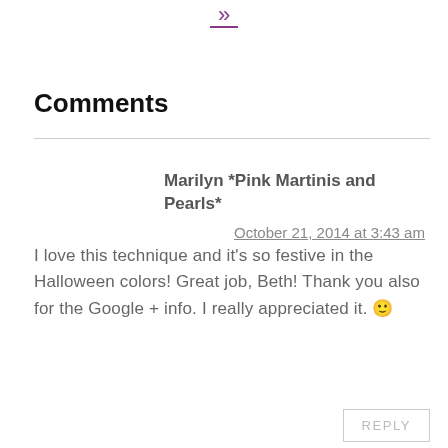[Figure (other): Purple double chevron/arrow icon with underline]
Comments
Marilyn *Pink Martinis and Pearls*
October 21, 2014 at 3:43 am
I love this technique and it's so festive in the Halloween colors! Great job, Beth! Thank you also for the Google + info. I really appreciated it. 🙂